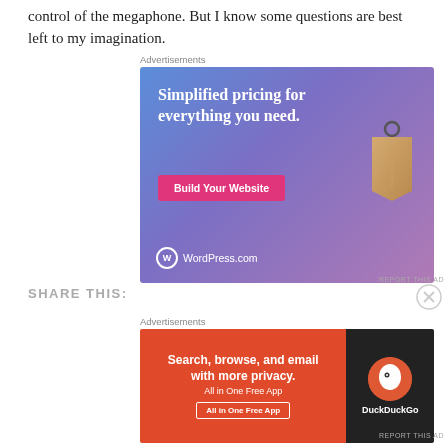control of the megaphone. But I know some questions are best left to my imagination.
[Figure (screenshot): WordPress.com advertisement: 'Simplified pricing for everything you need.' with a Build Your Website button and a price tag graphic on a blue-purple gradient background.]
REPORT THIS AD
SHARE THIS:
[Figure (screenshot): DuckDuckGo advertisement: 'Search, browse, and email with more privacy. All in One Free App' on an orange-red background with DuckDuckGo duck logo on black background.]
REPORT THIS AD